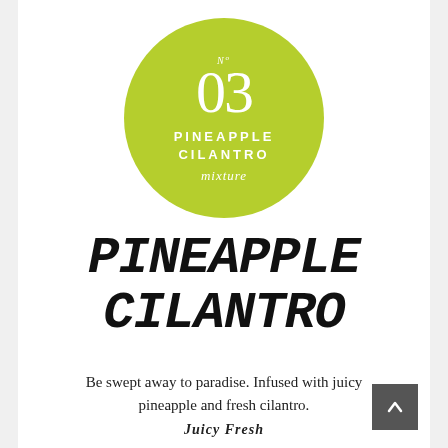[Figure (illustration): Circular lime-green badge with white text: 'No 03' at top, 'PINEAPPLE CILANTRO' in the center in bold spaced caps, and 'mixture' in italic script at the bottom.]
PINEAPPLE CILANTRO
Be swept away to paradise. Infused with juicy pineapple and fresh cilantro.
Juicy Fresh